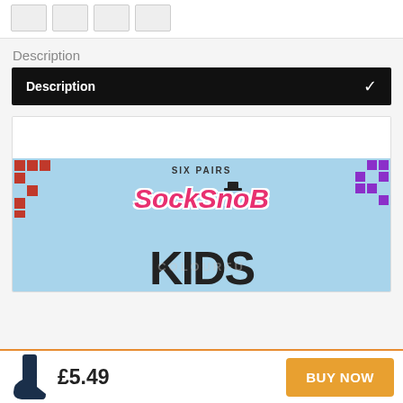[Figure (screenshot): Product page thumbnail images row at top]
Description
Description (collapsible bar with chevron)
[Figure (photo): SockSnob Kids product packaging image showing 'SIX PAIRS' text, SockSnob logo with top hat, and KIDS text on light blue background with red and purple checkerboard patterns]
£5.49
BUY NOW